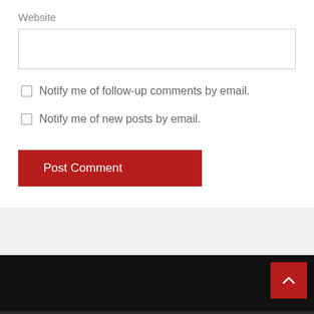Website
Notify me of follow-up comments by email.
Notify me of new posts by email.
Post Comment